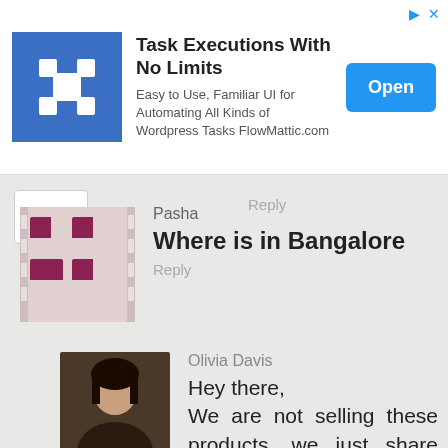[Figure (screenshot): Advertisement banner for FlowMattic.com - Task Executions With No Limits, showing blue logo icon, ad text, and blue Open button]
Reply
Pasha
Where is in Bangalore
Reply
Olivia Davis
Hey there,
We are not selling these products, we just share ideas and inspiration.
Best regards,
Team Outfit Trends